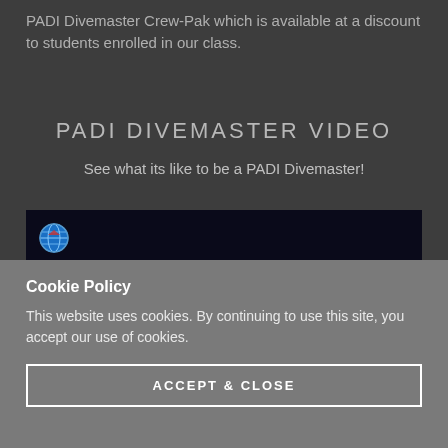PADI Divemaster Crew-Pak which is available at a discount to students enrolled in our class.
PADI DIVEMASTER VIDEO
See what its like to be a PADI Divemaster!
[Figure (screenshot): Video thumbnail with dark background, PADI globe logo visible in upper left corner, partially visible text below]
Cookie Policy
This website uses cookies. By continuing to use this site, you accept our use of cookies.
ACCEPT & CLOSE